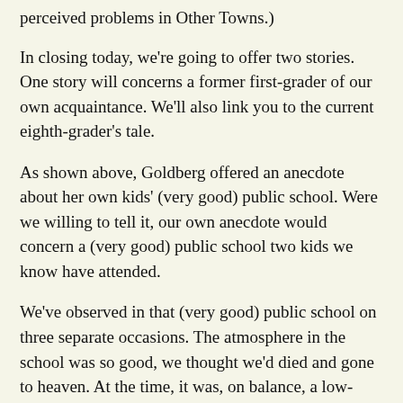perceived problems in Other Towns.)
In closing today, we're going to offer two stories. One story will concerns a former first-grader of our own acquaintance. We'll also link you to the current eighth-grader's tale.
As shown above, Goldberg offered an anecdote about her own kids' (very good) public school. Were we willing to tell it, our own anecdote would concern a (very good) public school two kids we know have attended.
We've observed in that (very good) public school on three separate occasions. The atmosphere in the school was so good, we thought we'd died and gone to heaven. At the time, it was, on balance, a low-income school.
Allowing for personal privacy, we'll just tell you this:
Something like eight years ago, a child came home from this (very good) school with some very large, hugely improbable worries. Based upon this incident, a sensible person might sensibly draw this conclusion:
It's hard to know how to teach our brutal racial history to very